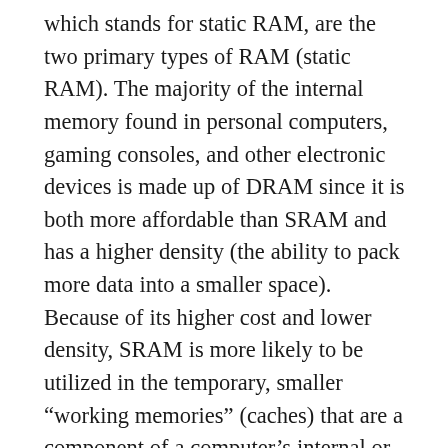which stands for static RAM, are the two primary types of RAM (static RAM). The majority of the internal memory found in personal computers, gaming consoles, and other electronic devices is made up of DRAM since it is both more affordable than SRAM and has a higher density (the ability to pack more data into a smaller space). Because of its higher cost and lower density, SRAM is more likely to be utilized in the temporary, smaller “working memories” (caches) that are a component of a computer’s internal or external memories. SRAM is also quicker than DRAM, which uses less power overall. It is also commonly employed in portable gadgets such as telephones, where it is vitally critical to minimize the amount of power consumed (and maximize the amount of time a battery can last).
The way in which DRAM and SRAM are assembled from the bottom, it starts to be a bottom.